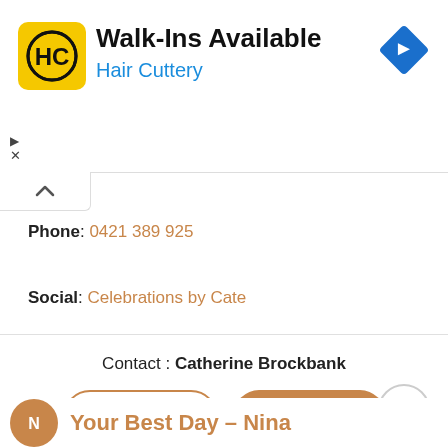[Figure (screenshot): Hair Cuttery advertisement banner with yellow logo showing 'HC', title 'Walk-Ins Available', subtitle 'Hair Cuttery', and a blue navigation diamond icon. Small play and close controls on left.]
Phone: 0421 389 925
Social: Celebrations by Cate
Contact : Catherine Brockbank
Visit Website
Request Price
[Figure (screenshot): Partial next listing avatar (circular tan/gold icon) with text 'Your Best Day – Nina' partially visible at bottom of screen]